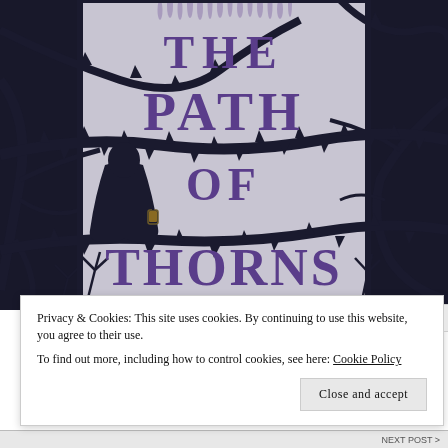[Figure (illustration): Book cover of 'The Path of Thorns' — dark background with thorny branches, a silhouette of a cloaked figure holding a lantern, and purple lavender/flowers at the top. Title text 'THE PATH OF THORNS' is rendered in large purple serif letters across the cover.]
Privacy & Cookies: This site uses cookies. By continuing to use this website, you agree to their use.
To find out more, including how to control cookies, see here: Cookie Policy
Close and accept